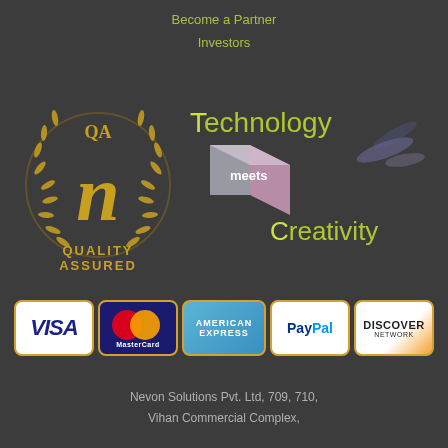Become a Partner
Investors
[Figure (logo): QA Quality Assured gold laurel wreath logo with stylized N]
[Figure (logo): Technology meets Creativity logo with 3D cube and smoke effects]
[Figure (infographic): Payment method badges: VISA, MasterCard, American Express, PayPal, Discover Network]
Nevon Solutions Pvt. Ltd, 709, 710,
Vihan Commercial Complex,